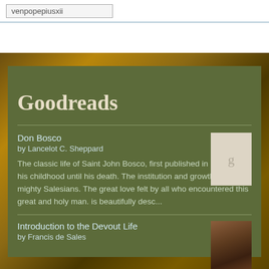venpopepiusxii
Goodreads
Don Bosco
by Lancelot C. Sheppard
The classic life of Saint John Bosco, first published in 1952 from his childhood until his death. The institution and growth of the mighty Salesians. The great love felt by all who encountered this great and holy man. is beautifully desc...
[Figure (other): Book cover placeholder with 'g' icon for Don Bosco]
Introduction to the Devout Life
by Francis de Sales
[Figure (photo): Book cover photo for Introduction to the Devout Life]